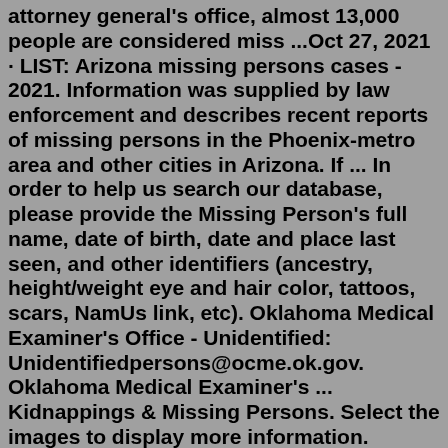attorney general's office, almost 13,000 people are considered miss ...Oct 27, 2021 · LIST: Arizona missing persons cases - 2021. Information was supplied by law enforcement and describes recent reports of missing persons in the Phoenix-metro area and other cities in Arizona. If ... In order to help us search our database, please provide the Missing Person's full name, date of birth, date and place last seen, and other identifiers (ancestry, height/weight eye and hair color, tattoos, scars, NamUs link, etc). Oklahoma Medical Examiner's Office - Unidentified: Unidentifiedpersons@ocme.ok.gov. Oklahoma Medical Examiner's ... Kidnappings & Missing Persons. Select the images to display more information. Listing. Results: 108 Items. Kidnappings & Missing Persons. Select the images to display more information. Listing. Results: 108 Items.Oct 25, 2020 · The San Diego Police Department currently has 10 open missing-persons cases where detectives believe the person may be in Mexico. Since 2013, the Chula